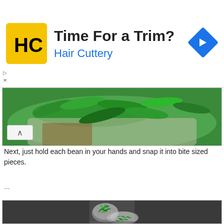[Figure (screenshot): Advertisement banner for Hair Cuttery. Yellow square logo with 'HC' text, headline 'Time For a Trim?', subtext 'Hair Cuttery' in blue, blue diamond arrow icon on right.]
[Figure (photo): Close-up photo of green snap beans/edamame in a white or light-colored bowl or tray, viewed from above.]
Next, just hold each bean in your hands and snap it into bite sized pieces.
...
[Figure (photo): Photo showing two bowls: a metal bowl with whole green beans with stems, and a clear plastic bowl with snapped green bean pieces.]